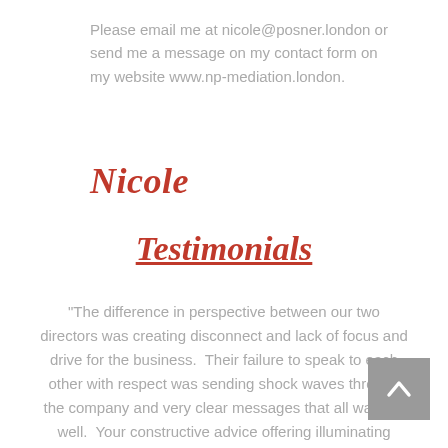Please email me at nicole@posner.london or send me a message on my contact form on my website www.np-mediation.london.
Nicole
Testimonials
"The difference in perspective between our two directors was creating disconnect and lack of focus and drive for the business.  Their failure to speak to each other with respect was sending shock waves through the company and very clear messages that all was not well.  Your constructive advice offering illuminating ways to approach them both was invaluable.  I wouldn't have alighted upon the best course of action with...